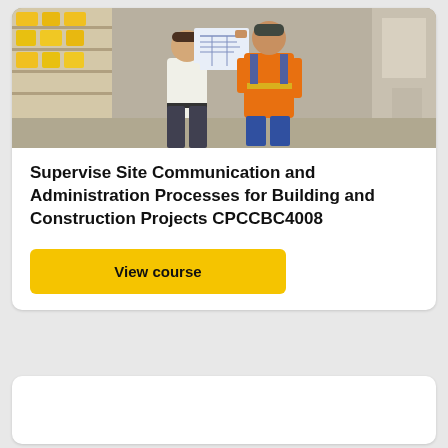[Figure (photo): Two construction workers on a building site, one in a white shirt holding blueprints, the other in an orange hi-vis vest and plaid shirt, with shelving and construction materials in the background.]
Supervise Site Communication and Administration Processes for Building and Construction Projects CPCCBC4008
View course